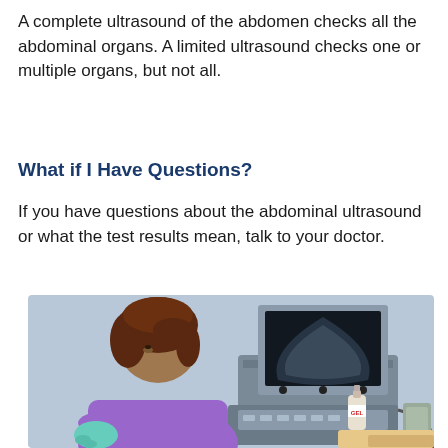A complete ultrasound of the abdomen checks all the abdominal organs. A limited ultrasound checks one or multiple organs, but not all.
What if I Have Questions?
If you have questions about the abdominal ultrasound or what the test results mean, talk to your doctor.
[Figure (illustration): Illustration of a medical professional (woman with brown hair, purple top, teal gloves) sitting at an ultrasound machine. The machine has a dark monitor displaying a fan-shaped ultrasound image. A bottle of GEL is visible on the machine. The background is light blue.]